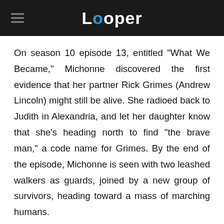Looper
On season 10 episode 13, entitled "What We Became," Michonne discovered the first evidence that her partner Rick Grimes (Andrew Lincoln) might still be alive. She radioed back to Judith in Alexandria, and let her daughter know that she's heading north to find "the brave man," a code name for Grimes. By the end of the episode, Michonne is seen with two leashed walkers as guards, joined by a new group of survivors, heading toward a mass of marching humans.